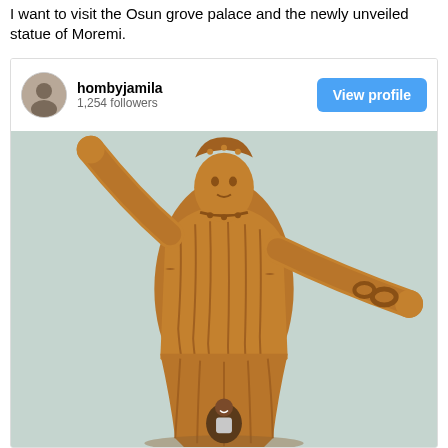I want to visit the Osun grove palace and the newly unveiled statue of Moremi.
[Figure (screenshot): Instagram profile card for user hombyjamila showing 1,254 followers with a View profile button, followed by a photo of the large bronze statue of Moremi with arms outstretched, a woman standing at the base of the statue for scale.]